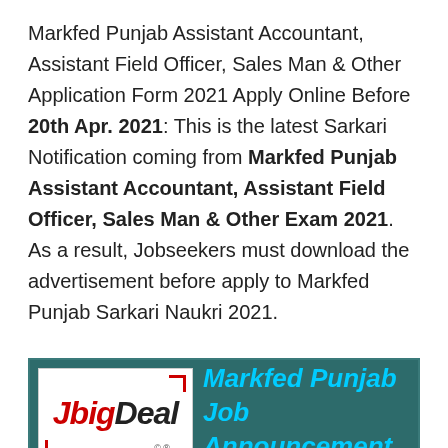Markfed Punjab Assistant Accountant, Assistant Field Officer, Sales Man & Other Application Form 2021 Apply Online Before 20th Apr. 2021: This is the latest Sarkari Notification coming from Markfed Punjab Assistant Accountant, Assistant Field Officer, Sales Man & Other Exam 2021. As a result, Jobseekers must download the advertisement before apply to Markfed Punjab Sarkari Naukri 2021.
[Figure (logo): JbigDeal logo with cyan text reading Markfed Punjab Job Announcement on a dark teal banner background]